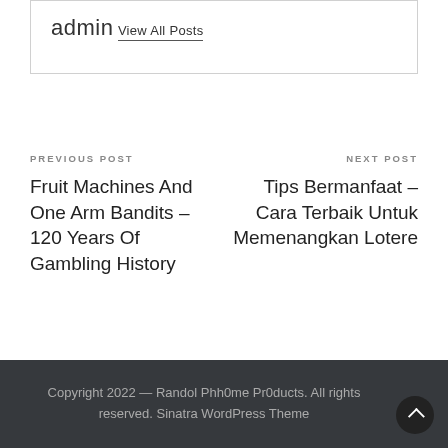admin
View All Posts
PREVIOUS POST
Fruit Machines And One Arm Bandits – 120 Years Of Gambling History
NEXT POST
Tips Bermanfaat – Cara Terbaik Untuk Memenangkan Lotere
Copyright 2022 — Randol Phh0me Pr0ducts. All rights reserved. Sinatra WordPress Theme